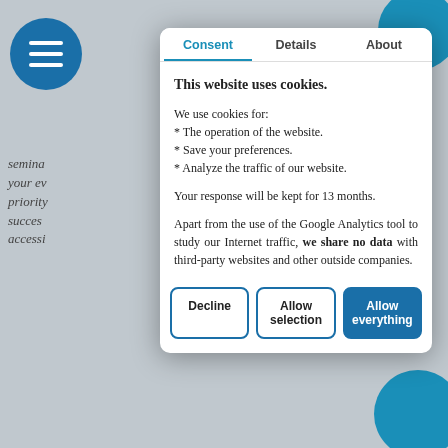[Figure (screenshot): Cookie consent modal dialog overlaid on a website page. The modal has three tabs: Consent (active, highlighted in teal), Details, and About. The content describes cookie usage and data sharing policy. Three buttons at the bottom: Decline, Allow selection, Allow everything (primary).]
This website uses cookies.
We use cookies for:
* The operation of the website.
* Save your preferences.
* Analyze the traffic of our website.
Your response will be kept for 13 months.
Apart from the use of the Google Analytics tool to study our Internet traffic, we share no data with third-party websites and other outside companies.